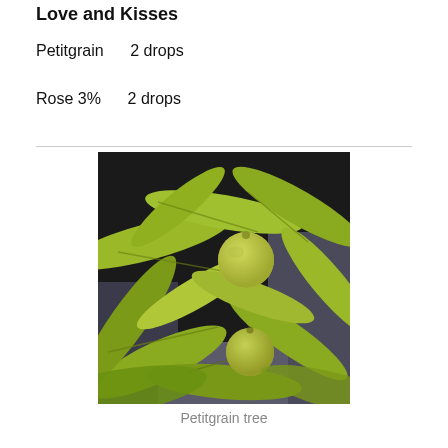Love and Kisses
Petitgrain    2 drops
Rose 3%    2 drops
[Figure (photo): Photo of a petitgrain tree showing green elongated leaves and small round green fruits against a dark background.]
Petitgrain tree